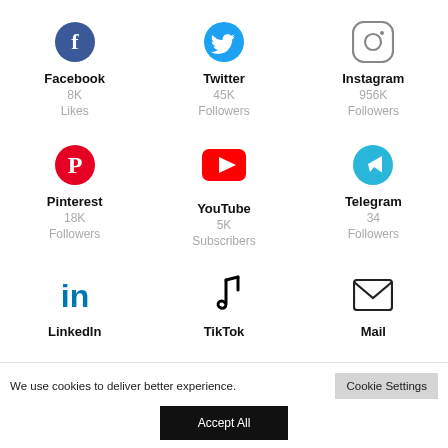[Figure (infographic): Social media links grid with icons and stats: Facebook (8K Likes), Twitter (45K Followers), Instagram (956K Followers), Pinterest (18K Followers), YouTube (5K Subscribers), Telegram (34 Followers), LinkedIn, TikTok, Mail]
We use cookies to deliver better experience.
Cookie Settings
Accept All